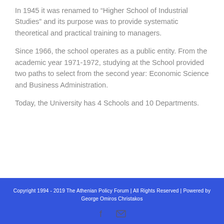In 1945 it was renamed to “Higher School of Industrial Studies” and its purpose was to provide systematic theoretical and practical training to managers.
Since 1966, the school operates as a public entity. From the academic year 1971-1972, studying at the School provided two paths to select from the second year: Economic Science and Business Administration.
Today, the University has 4 Schools and 10 Departments.
Copyright 1994 - 2019 The Athenian Policy Forum | All Rights Reserved | Powered by George Omiros Christakos